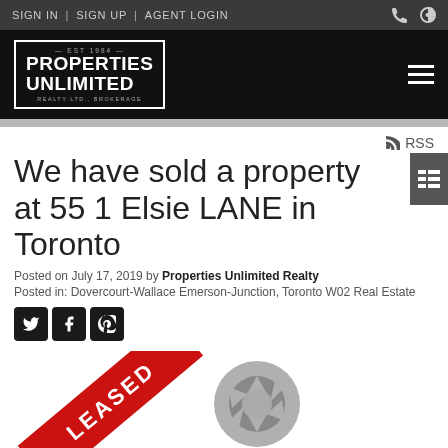SIGN IN | SIGN UP | AGENT LOGIN
[Figure (logo): Properties Unlimited Realty Ltd. Brokerage logo — EST 1984, white text on black background with border]
We have sold a property at 55 1 Elsie LANE in Toronto
Posted on July 17, 2019 by Properties Unlimited Realty
Posted in: Dovercourt-Wallace Emerson-Junction, Toronto W02 Real Estate
[Figure (illustration): Red leased ribbon banner with white text LEASED, and a gray camera shutter icon placeholder]
RSS